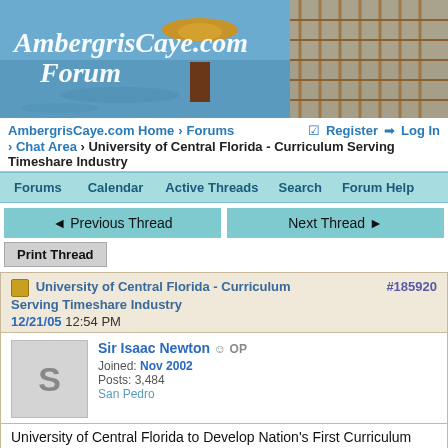[Figure (photo): AmbergrisCaye.com Forum banner with person in straw hat on a boat, tropical waterfront scene]
AmbergrisCaye.com Home > Forums > Chat Area > University of Central Florida - Curriculum Serving Timeshare Industry
Forums  Calendar  Active Threads  Search  Forum Help
◄ Previous Thread   Next Thread ►
Print Thread
University of Central Florida - Curriculum Serving Timeshare Industry
#185920
12/21/05 12:54 PM
Sir Isaac Newton  OP
Joined: Nov 2002
Posts: 3,484
San Pedro
University of Central Florida to Develop Nation's First Curriculum